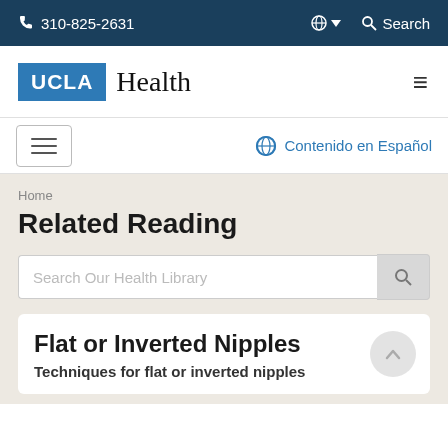310-825-2631  Search
[Figure (logo): UCLA Health logo with UCLA in white on blue box and Health in serif font]
Contenido en Español
Home
Related Reading
Search Our Health Library
Flat or Inverted Nipples
Techniques for flat or inverted nipples